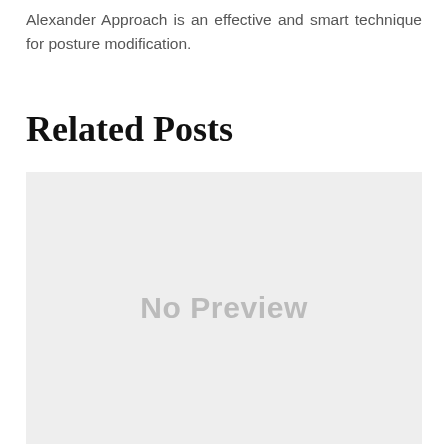Alexander Approach is an effective and smart technique for posture modification.
Related Posts
[Figure (photo): Placeholder image showing 'No Preview' text on a light gray background]